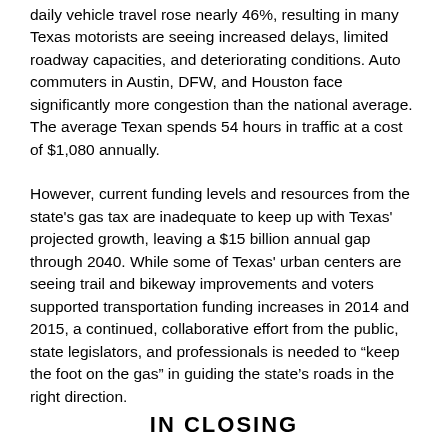daily vehicle travel rose nearly 46%, resulting in many Texas motorists are seeing increased delays, limited roadway capacities, and deteriorating conditions. Auto commuters in Austin, DFW, and Houston face significantly more congestion than the national average. The average Texan spends 54 hours in traffic at a cost of $1,080 annually.
However, current funding levels and resources from the state's gas tax are inadequate to keep up with Texas' projected growth, leaving a $15 billion annual gap through 2040. While some of Texas' urban centers are seeing trail and bikeway improvements and voters supported transportation funding increases in 2014 and 2015, a continued, collaborative effort from the public, state legislators, and professionals is needed to “keep the foot on the gas” in guiding the state's roads in the right direction.
IN CLOSING